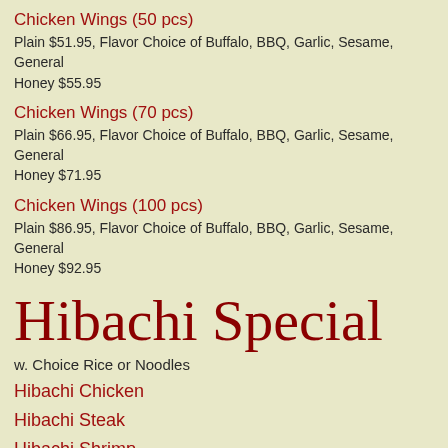Chicken Wings (50 pcs)
Plain $51.95, Flavor Choice of Buffalo, BBQ, Garlic, Sesame, General Honey $55.95
Chicken Wings (70 pcs)
Plain $66.95, Flavor Choice of Buffalo, BBQ, Garlic, Sesame, General Honey $71.95
Chicken Wings (100 pcs)
Plain $86.95, Flavor Choice of Buffalo, BBQ, Garlic, Sesame, General Honey $92.95
Hibachi Special
w. Choice Rice or Noodles
Hibachi Chicken
Hibachi Steak
Hibachi Shrimp
Hibachi Chicken & Steak